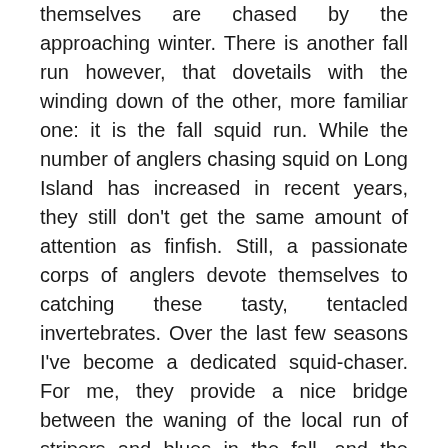themselves are chased by the approaching winter. There is another fall run however, that dovetails with the winding down of the other, more familiar one: it is the fall squid run. While the number of anglers chasing squid on Long Island has increased in recent years, they still don't get the same amount of attention as finfish. Still, a passionate corps of anglers devote themselves to catching these tasty, tentacled invertebrates. Over the last few seasons I've become a dedicated squid-chaser. For me, they provide a nice bridge between the waning of the local run of stripers and blues in the fall, and the arrival of herring and cod as the year comes to a close.
While squid in the northeast begin to filter inshore as early as May, the fishing doesn't heat up in many areas until late autumn when the